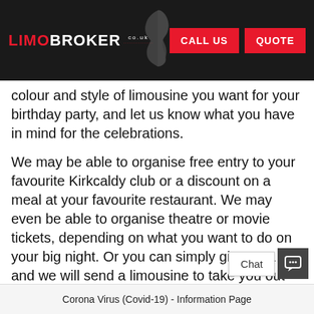LIMOBROKER - CALL US | QUOTE
colour and style of limousine you want for your birthday party, and let us know what you have in mind for the celebrations.
We may be able to organise free entry to your favourite Kirkcaldy club or a discount on a meal at your favourite restaurant. We may even be able to organise theatre or movie tickets, depending on what you want to do on your big night. Or you can simply give us a call and we will send a limousine to take you out on the town in Kirkcaldy, with the activities a surprise until you arrive!
Corona Virus (Covid-19) - Information Page